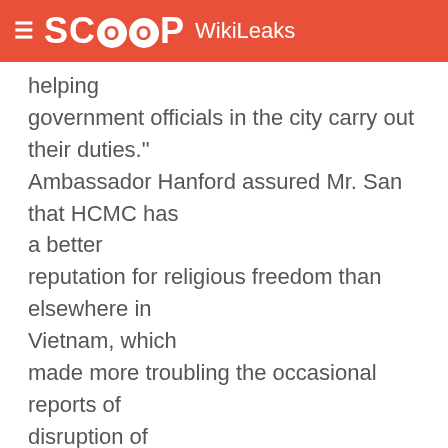SCOOP WikiLeaks
helping government officials in the city carry out their duties." Ambassador Hanford assured Mr. San that HCMC has a better reputation for religious freedom than elsewhere in Vietnam, which made more troubling the occasional reports of disruption of religious services, confiscation of religious materials, and imposition of fines for religious activities. Mr. San noted that there had been dramatic increases in the frequency of travel by